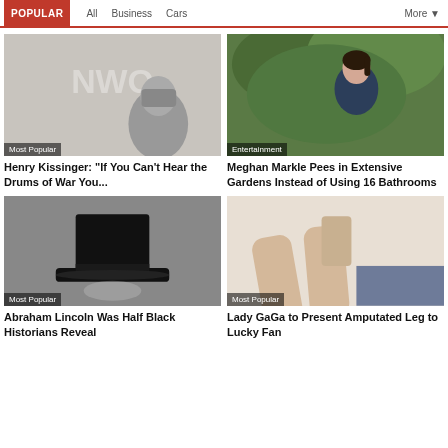POPULAR | All | Business | Cars | More
[Figure (photo): Elderly man with glasses against a grey background with faint NWO watermark text, labeled 'Most Popular']
Henry Kissinger: “If You Can’t Hear the Drums of War You...
[Figure (photo): Woman with dark hair in a ponytail wearing navy blue, leaning forward near green foliage, labeled 'Entertainment']
Meghan Markle Pees in Extensive Gardens Instead of Using 16 Bathrooms
[Figure (photo): Black and white photo of a tall black top hat, labeled 'Most Popular']
Abraham Lincoln Was Half Black Historians Reveal
[Figure (photo): Close-up of a person's lower legs and feet on a light surface holding a phone, labeled 'Most Popular']
Lady GaGa to Present Amputated Leg to Lucky Fan